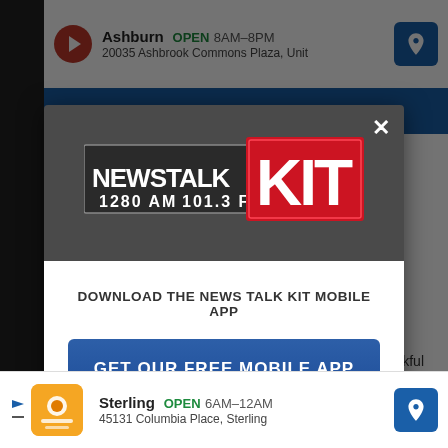[Figure (screenshot): Screenshot of a mobile web browser showing a popup modal for News Talk KIT radio station app download, with an advertisement banner at top showing Ashburn location and bottom showing Sterling location]
[Figure (logo): News Talk KIT 1280 AM 101.3 FM radio station logo in white and red on dark background]
DOWNLOAD THE NEWS TALK KIT MOBILE APP
GET OUR FREE MOBILE APP
Also listen on: amazon alexa